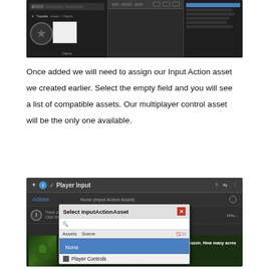[Figure (screenshot): Unity editor screenshot showing a project view with a gear/settings panel and an asset list panel on the right with blue highlighted items]
Once added we will need to assign our Input Action asset we created earlier. Select the empty field and you will see a list of compatible assets. Our multiplayer control asset will be the only one available.
[Figure (screenshot): Unity Player Input component inspector showing a 'Select InputActionAsset' modal dialog with None and Player Controls options listed, and an advertisement banner at the bottom for Amazon forest protection]
×